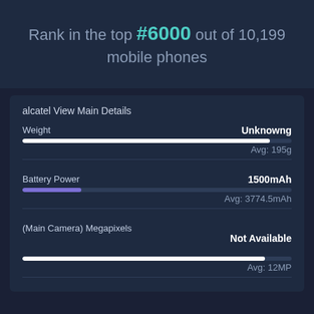Rank in the top #6000 out of 10,199 mobile phones
alcatel View Main Details
Weight — Unknowng, Avg: 195g
Battery Power — 1500mAh, Avg: 3774.5mAh
(Main Camera) Megapixels — Not Available, Avg: 12MP